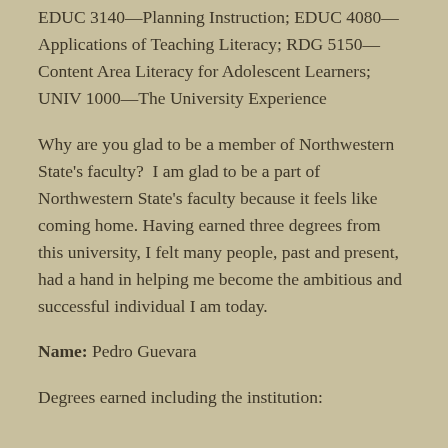EDUC 3140—Planning Instruction; EDUC 4080—Applications of Teaching Literacy; RDG 5150—Content Area Literacy for Adolescent Learners; UNIV 1000—The University Experience
Why are you glad to be a member of Northwestern State's faculty?  I am glad to be a part of Northwestern State's faculty because it feels like coming home. Having earned three degrees from this university, I felt many people, past and present, had a hand in helping me become the ambitious and successful individual I am today.
Name: Pedro Guevara
Degrees earned including the institution: